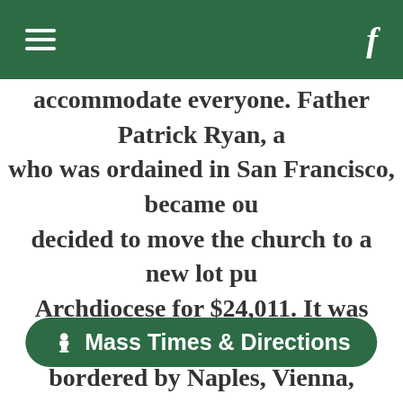≡  f
accommodate everyone. Father Patrick Ryan, a who was ordained in San Francisco, became ou decided to move the church to a new lot pu Archdiocese for $24,011. It was situated on a bordered by Naples, Vienna, Amazon and Italy. was split in half. The sections were put on lo pushed up Russia Street, and set up on Naples feet apart. A new construction joined the two building reopened the seating capacity had inc 300 to 480 to accommodate the growing pari rectory moved from Persia to the corner of A Streets an 192
[Figure (other): Mass Times & Directions button overlay at bottom of page]